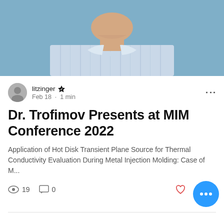[Figure (photo): Partial portrait photo of a man in a light blue striped shirt against a blue background, cropped at chin level showing neck and shoulders]
litzinger · Feb 18 · 1 min
Dr. Trofimov Presents at MIM Conference 2022
Application of Hot Disk Transient Plane Source for Thermal Conductivity Evaluation During Metal Injection Molding: Case of M...
19    0